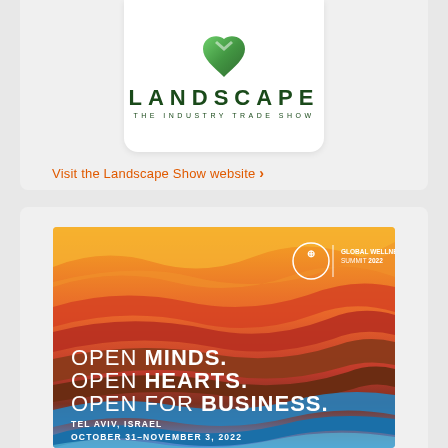[Figure (logo): LANDSCAPE The Industry Trade Show logo with green heart/leaf icon on white rounded card background]
Visit the Landscape Show website >
[Figure (illustration): Global Wellness Summit 2022 banner ad with colorful layered wave background in orange, red, brown, blue tones. Text: OPEN MINDS. OPEN HEARTS. OPEN FOR BUSINESS. TEL AVIV, ISRAEL OCTOBER 31–NOVEMBER 3, 2022]